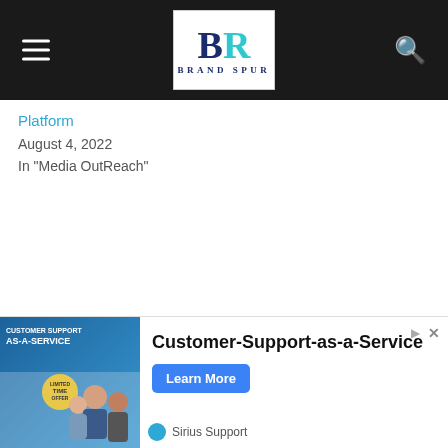Brand Spur - navigation bar with logo
Platform
August 4, 2022
In "Media OutReach"
[Figure (other): Customer-Support-as-a-Service advertisement banner with Sirius Support branding showing business professionals and a Learn More button]